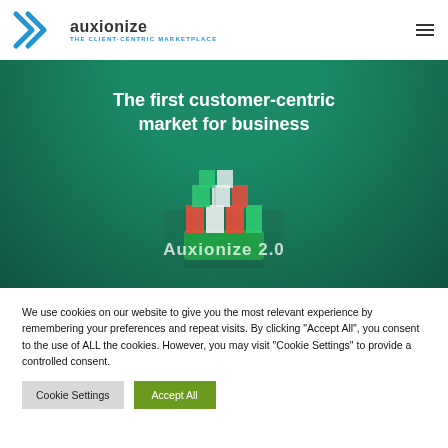[Figure (logo): Auxionize logo with X arrow icon and text 'auxionize THE CLIENT-CENTRIC MARKETPLACE']
[Figure (photo): Aerial view of a cargo ship on teal/green water, used as hero banner background]
The first customer-centric market for business
Auxionize 2.0
We use cookies on our website to give you the most relevant experience by remembering your preferences and repeat visits. By clicking "Accept All", you consent to the use of ALL the cookies. However, you may visit "Cookie Settings" to provide a controlled consent.
Cookie Settings | Accept All